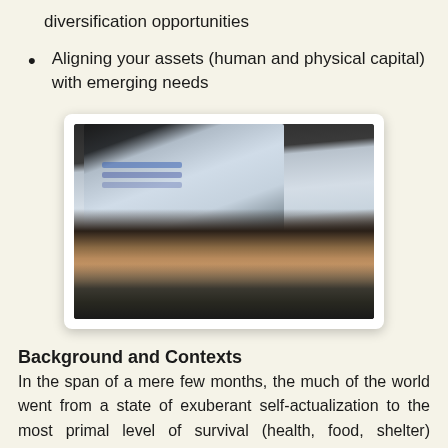diversification opportunities
Aligning your assets (human and physical capital) with emerging needs
[Figure (photo): A blurred close-up photo of hands typing on a keyboard in front of a computer monitor displaying a blue-tinted screen.]
Background and Contexts
In the span of a mere few months, the much of the world went from a state of exuberant self-actualization to the most primal level of survival (health, food, shelter) insecurity. Import-dependent island economies were perhaps the first to run out of food, water, medicine, and other necessities. Even even the largest economies faced and will continue to face tremendous supply chain ruptures that are of such a scale